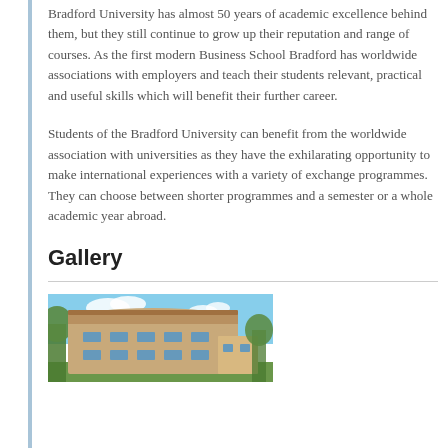Bradford University has almost 50 years of academic excellence behind them, but they still continue to grow up their reputation and range of courses. As the first modern Business School Bradford has worldwide associations with employers and teach their students relevant, practical and useful skills which will benefit their further career.
Students of the Bradford University can benefit from the worldwide association with universities as they have the exhilarating opportunity to make international experiences with a variety of exchange programmes. They can choose between shorter programmes and a semester or a whole academic year abroad.
Gallery
[Figure (photo): Exterior photo of a university building with stone/brick facade, multiple windows, curved roof, surrounded by trees under a blue sky.]